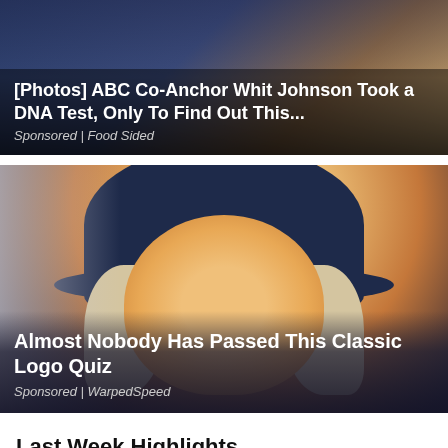[Figure (photo): Advertisement banner showing ABC Co-Anchor Whit Johnson DNA Test story with dark blue background]
[Photos] ABC Co-Anchor Whit Johnson Took a DNA Test, Only To Find Out This...
Sponsored | Food Sided
[Figure (photo): Advertisement image featuring Quaker Oats mascot-like figure (man with white wig and dark colonial hat) on a gradient background]
Almost Nobody Has Passed This Classic Logo Quiz
Sponsored | WarpedSpeed
Last Week Highlights